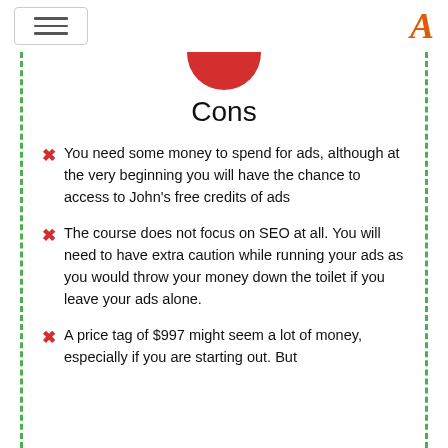[hamburger menu] [A logo]
[Figure (illustration): Bottom half of a red circle icon, partially visible at top of content area]
Cons
You need some money to spend for ads, although at the very beginning you will have the chance to access to John's free credits of ads
The course does not focus on SEO at all. You will need to have extra caution while running your ads as you would throw your money down the toilet if you leave your ads alone.
A price tag of $997 might seem a lot of money, especially if you are starting out. But